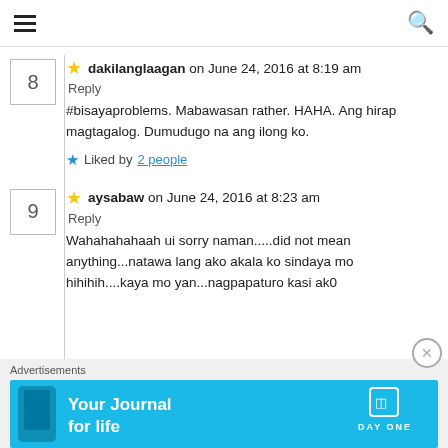Navigation menu and search icon
8  dakilanglaagan on June 24, 2016 at 8:19 am
Reply
#bisayaproblems. Mabawasan rather. HAHA. Ang hirap magtagalog. Dumudugo na ang ilong ko.
Liked by 2 people
9  aysabaw on June 24, 2016 at 8:23 am
Reply
Wahahahahaah ui sorry naman.....did not mean anything...natawa lang ako akala ko sindaya mo hihihih....kaya mo yan...nagpapaturo kasi ak0
Advertisements
[Figure (screenshot): Day One app advertisement banner with text 'Your Journal for life' and DAY ONE branding on a blue background]